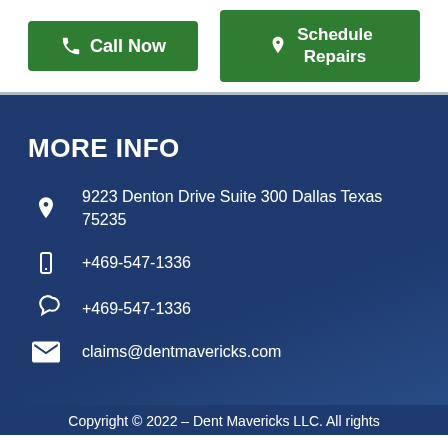[Figure (other): Green 'Call Now' button with phone icon]
[Figure (other): Green 'Schedule Repairs' button with location pin icon]
MORE INFO
9223 Denton Drive Suite 300 Dallas Texas 75235
+469-547-1336
+469-547-1336
claims@dentmavericks.com
Copyright © 2022 – Dent Mavericks LLC. All rights